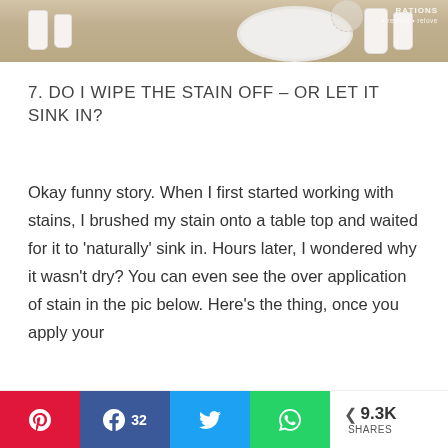[Figure (photo): Photo of white paint jars and a white round tray on a wooden table surface, with a brand watermark in the top right corner reading 'RATIONS • restyle • relove']
7. DO I WIPE THE STAIN OFF – OR LET IT SINK IN?
Okay funny story. When I first started working with stains, I brushed my stain onto a table top and waited for it to 'naturally' sink in. Hours later, I wondered why it wasn't dry? You can even see the over application of stain in the pic below. Here's the thing, once you apply your
Pinterest | Facebook 32 | Twitter | WhatsApp | < 9.3K SHARES